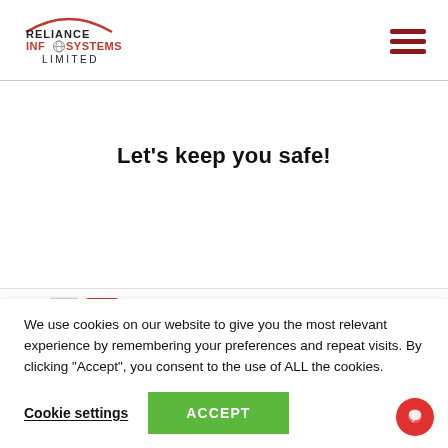[Figure (logo): Reliance Infosystems Limited logo with red arc and globe icon]
Let's keep you safe!
[Figure (screenshot): Partial bottom strip showing two small icons/thumbnails]
We use cookies on our website to give you the most relevant experience by remembering your preferences and repeat visits. By clicking “Accept”, you consent to the use of ALL the cookies.
Cookie settings
ACCEPT